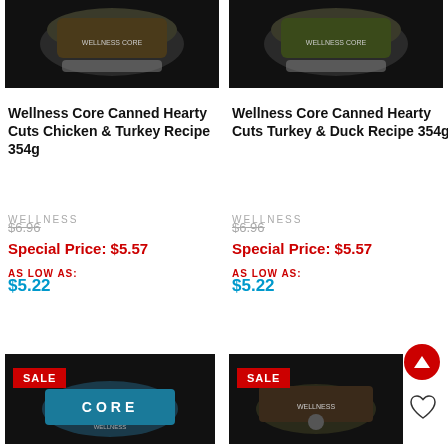[Figure (photo): Wellness Core Canned Hearty Cuts Chicken & Turkey product can on dark background]
[Figure (photo): Wellness Core Canned Hearty Cuts Turkey & Duck product can on dark background]
Wellness Core Canned Hearty Cuts Chicken & Turkey Recipe 354g
Wellness Core Canned Hearty Cuts Turkey & Duck Recipe 354g
WELLNESS
$6.96
Special Price: $5.57
AS LOW AS:
$5.22
WELLNESS
$6.96
Special Price: $5.57
AS LOW AS:
$5.22
[Figure (photo): Wellness Core canned cat food product with SALE badge, blue label can]
[Figure (photo): Wellness canned cat food product with SALE badge, dark label can]